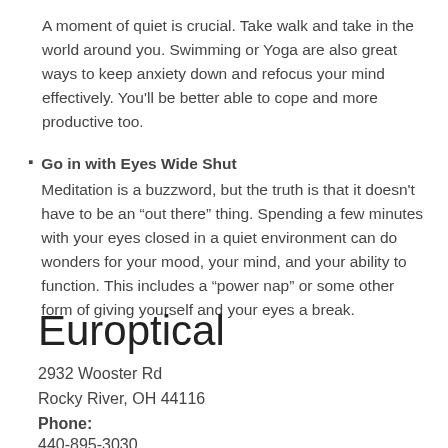A moment of quiet is crucial. Take walk and take in the world around you. Swimming or Yoga are also great ways to keep anxiety down and refocus your mind effectively. You'll be better able to cope and more productive too.
Go in with Eyes Wide Shut
Meditation is a buzzword, but the truth is that it doesn't have to be an “out there” thing. Spending a few minutes with your eyes closed in a quiet environment can do wonders for your mood, your mind, and your ability to function. This includes a “power nap” or some other form of giving yourself and your eyes a break.
Europtical
2932 Wooster Rd
Rocky River, OH 44116
Phone:
440-895-3030